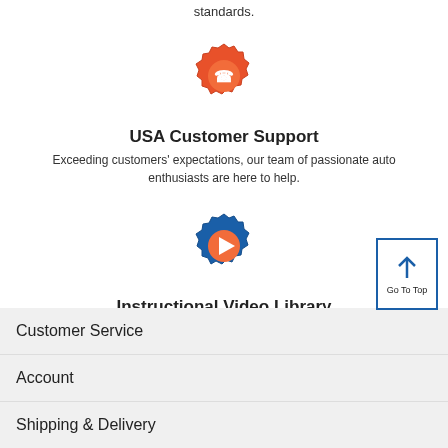standards.
[Figure (illustration): Red/orange gear icon with phone/signal symbol inside]
USA Customer Support
Exceeding customers' expectations, our team of passionate auto enthusiasts are here to help.
[Figure (illustration): Blue gear icon with orange play button triangle inside]
Instructional Video Library
Thousands of how-to auto repair videos to guide you step-by-step through your repair.
[Figure (illustration): Go To Top button with upward arrow]
Customer Service
Account
Shipping & Delivery